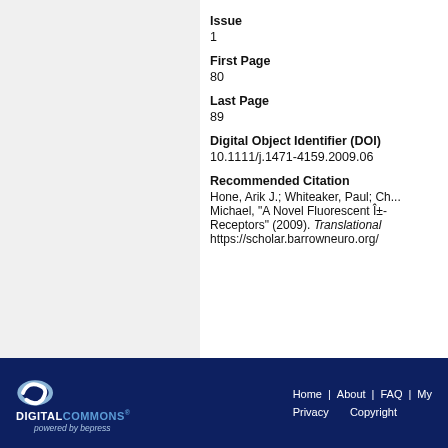Issue
1
First Page
80
Last Page
89
Digital Object Identifier (DOI)
10.1111/j.1471-4159.2009.06...
Recommended Citation
Hone, Arik J.; Whiteaker, Paul; Ch... Michael, "A Novel Fluorescent Î±-... Receptors" (2009). Translational... https://scholar.barrowneuro.org/...
[Figure (logo): Digital Commons powered by bepress logo in white and blue on dark navy background]
Home | About | FAQ | My... Privacy   Copyright